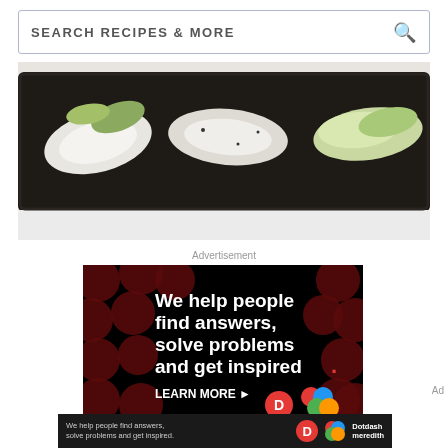SEARCH RECIPES & MORE
[Figure (photo): Bok choy vegetables on a dark baking tray, seen from above]
Advertisement
[Figure (infographic): Dotdash Meredith advertisement on black background with dark red polka dots. Large white bold text reads: We help people find answers, solve problems and get inspired. Red period at end. Below: LEARN MORE with arrow, Dotdash D logo, and Meredith flower logo.]
Ad
[Figure (infographic): Bottom ad bar: dark background with text 'We help people find answers, solve problems and get inspired.' with Dotdash D logo and Dotdash Meredith logo and text]